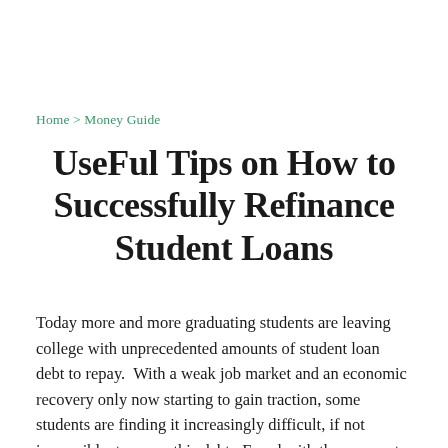Home > Money Guide
UseFul Tips on How to Successfully Refinance Student Loans
Today more and more graduating students are leaving college with unprecedented amounts of student loan debt to repay.  With a weak job market and an economic recovery only now starting to gain traction, some students are finding it increasingly difficult, if not impossible, to repay this debt.  Faced with the prospect of ruining their financial record before it actually begins,